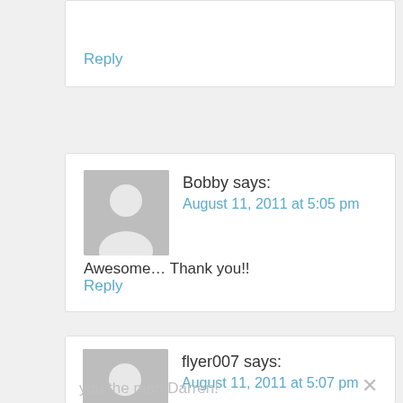Reply
Bobby says:
August 11, 2011 at 5:05 pm
Awesome… Thank you!!
Reply
flyer007 says:
August 11, 2011 at 5:07 pm
you the man Darren!